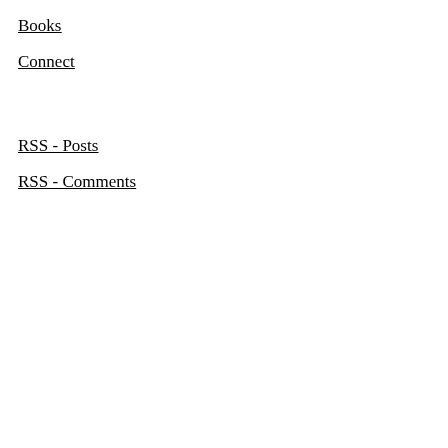Books
Connect
RSS - Posts
RSS - Comments